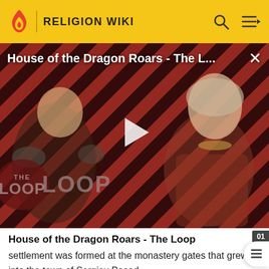RELIGION WIKI
[Figure (screenshot): Video thumbnail for 'House of the Dragon Roars - The L...' showing two characters from the show against a diagonal red and dark stripe background, with a play button in the center and THE LOOP branding in the lower left. A close (X) button is in the upper right.]
House of the Dragon Roars - The Loop
settlement was formed at the monastery gates that grew into the town of Sergiev Posad.
The news of his life and works of wonder spread far and